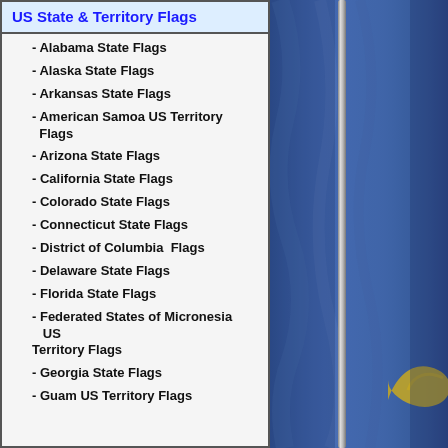US State & Territory Flags
- Alabama State Flags
- Alaska State Flags
- Arkansas State Flags
- American Samoa US Territory Flags
- Arizona State Flags
- California State Flags
- Colorado State Flags
- Connecticut State Flags
- District of Columbia  Flags
- Delaware State Flags
- Florida State Flags
- Federated States of Micronesia    US Territory Flags
- Georgia State Flags
- Guam US Territory Flags
[Figure (photo): A blue state/territory flag waving on a silver flagpole, with a partial gold emblem visible on the lower right of the flag. The background is the blue fabric of the flag.]